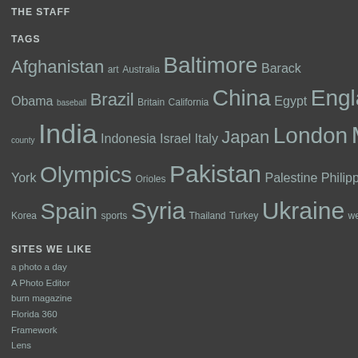THE STAFF
TAGS
Afghanistan art Australia Baltimore Barack Obama baseball Brazil Britain California China Egypt England fashion flooding France Germany Greece howard county India Indonesia Israel Italy Japan London Maryland Mexico Nepal New York Olympics Orioles Pakistan Palestine Philippines protest Ravens Russia soccer South Korea Spain sports Syria Thailand Turkey Ukraine weather
SITES WE LIKE
a photo a day
A Photo Editor
burn magazine
Florida 360
Framework
Lens